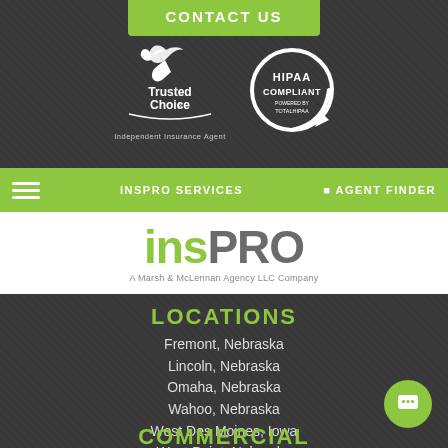CONTACT US
[Figure (logo): Trusted Choice Independent Insurance Agent logo - white bird/dove above curved text 'Trusted Choice' with tagline 'Independent Insurance Agent']
[Figure (logo): HIPAA Compliant circular logo with arrow, powered by TotalHIPAA]
INSPRO SERVICES    AGENT FINDER
[Figure (logo): INSPRO logo - 'ins' in green and 'PRO' in gray, with tagline 'A Marsh & McLennan Agency LLC Company']
LOCATIONS
Fremont, Nebraska
Lincoln, Nebraska
Omaha, Nebraska
Wahoo, Nebraska
West Des Moines, Iowa
West Point, Nebraska
COMMERCIAL